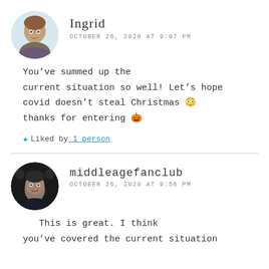[Figure (photo): Circular avatar photo of a woman named Ingrid]
Ingrid
OCTOBER 26, 2020 AT 9:07 PM
You've summed up the current situation so well! Let's hope covid doesn't steal Christmas 😳 thanks for entering 🎃
★ Liked by 1 person
[Figure (photo): Circular avatar photo of a man associated with middleagefanclub]
middleagefanclub
OCTOBER 26, 2020 AT 9:56 PM
This is great. I think you've covered the current situation